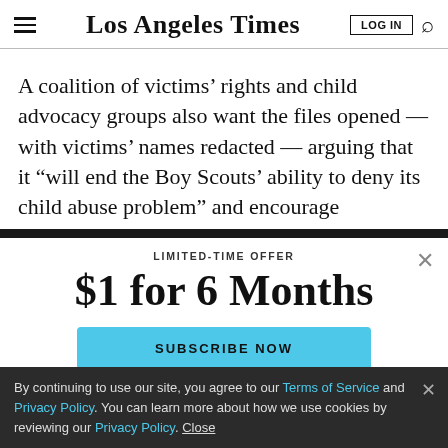Los Angeles Times
A coalition of victims' rights and child advocacy groups also want the files opened — with victims' names redacted — arguing that it “will end the Boy Scouts’ ability to deny its child abuse problem” and encourage
LIMITED-TIME OFFER
$1 for 6 Months
SUBSCRIBE NOW
By continuing to use our site, you agree to our Terms of Service and Privacy Policy. You can learn more about how we use cookies by reviewing our Privacy Policy. Close